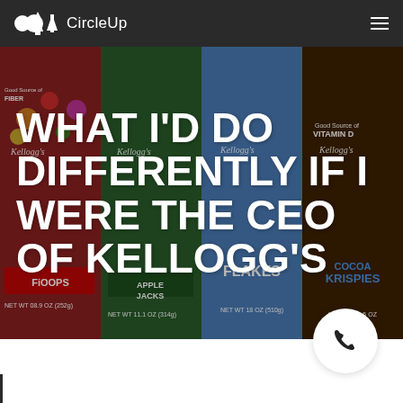CircleUp
[Figure (photo): Background image of multiple Kellogg's cereal boxes including Froot Loops, Apple Jacks, Corn Flakes, and Cocoa Krispies arranged side by side]
WHAT I'D DO DIFFERENTLY IF I WERE THE CEO OF KELLOGG'S